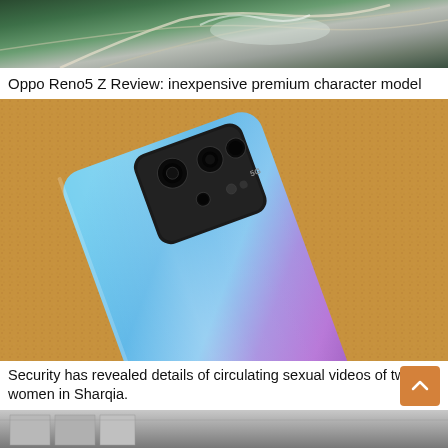[Figure (photo): Aerial/overhead photo of terrain with roads or structures, green trees and grey/white elements visible]
Oppo Reno5 Z Review: inexpensive premium character model
[Figure (photo): OPPO Reno5 Z smartphone lying on a cork/corkboard surface, showing the back with gradient blue-purple finish and multi-lens camera module with 5G label]
Security has revealed details of circulating sexual videos of two women in Sharqia.
[Figure (photo): Partial bottom image showing what appears to be a building or structure]